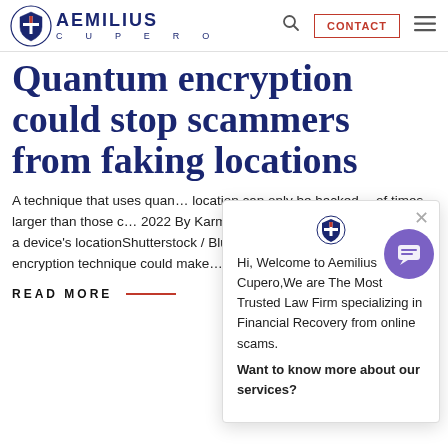AEMILIUS CUPERO — Navigation bar with logo, search, CONTACT button, and menu
Quantum encryption could stop scammers from faking locations
A technique that uses quantum mechanics to verify a device's location can only be hacked using resources orders of times larger than those of times larger than those c… 2022 By Karmela Padavic-C… be used to verify a device's locationShutterstock / Blue Planet Studio A quantum encryption technique could make…
READ MORE
[Figure (screenshot): Chat popup widget from Aemilius Cupero law firm. Contains shield logo, close button (×), welcome message: 'Hi, Welcome to Aemilius Cupero,We are The Most Trusted Law Firm specializing in Financial Recovery from online scams.' and 'Want to know more about our services?']